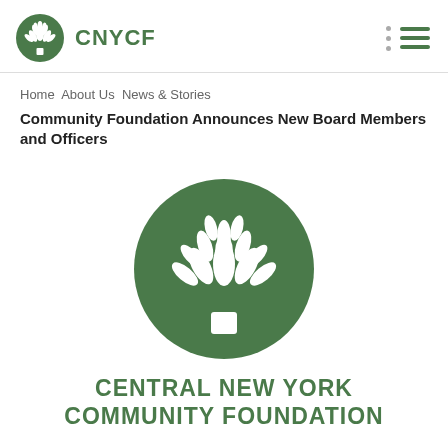CNYCF
Home About Us News & Stories
Community Foundation Announces New Board Members and Officers
[Figure (logo): Central New York Community Foundation logo: green circle with white stylized tree/artichoke plant design]
CENTRAL NEW YORK COMMUNITY FOUNDATION